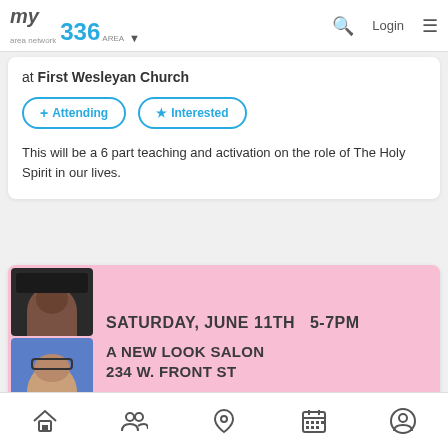my area network | 336 AREA | Login
at First Wesleyan Church
+ Attending   ★ Interested
This will be a 6 part teaching and activation on the role of The Holy Spirit in our lives.
[Figure (photo): Advertisement banner for A New Look Salon at 234 W. Front St, Saturday June 11th 5-7PM, with photos of people]
Bottom navigation bar with home, people, location, calendar, and profile icons